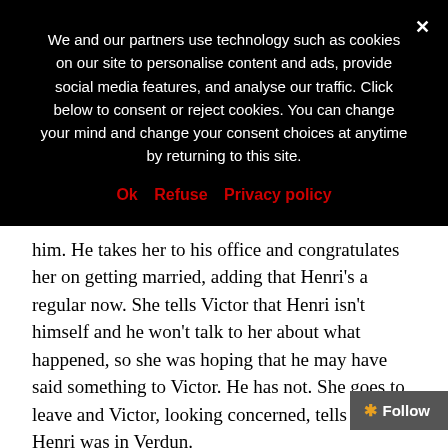We and our partners use technology such as cookies on our site to personalise content and ads, provide social media features, and analyse our traffic. Click below to consent or reject cookies. You can change your mind and change your consent choices at anytime by returning to this site.
Ok   Refuse   Privacy policy
him. He takes her to his office and congratulates her on getting married, adding that Henri's a regular now. She tells Victor that Henri isn't himself and he won't talk to her about what happened, so she was hoping that he may have said something to Victor. He has not. She goes to leave and Victor, looking concerned, tells her that Henri was in Verdun.
Agnes: Yeah, I have no idea what that means. We had censorship in this country during the war. You may as well have just said 'he was in Aberdeen.'